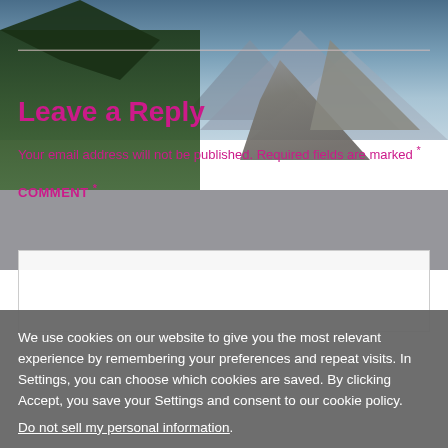[Figure (photo): Mountain landscape background photo with rocky peaks, trees, and sky]
Leave a Reply
Your email address will not be published. Required fields are marked *
COMMENT *
We use cookies on our website to give you the most relevant experience by remembering your preferences and repeat visits. In Settings, you can choose which cookies are saved. By clicking Accept, you save your Settings and consent to our cookie policy. Do not sell my personal information.
SETTINGS
ACCEPT